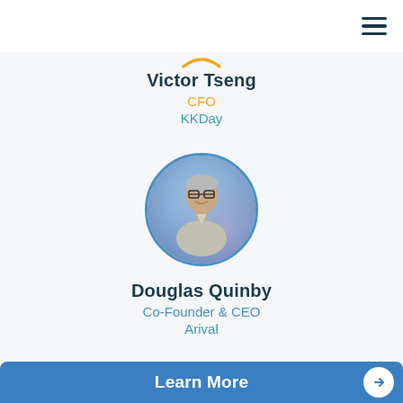[Figure (screenshot): Hamburger menu icon (three horizontal lines) in dark navy color, top right corner]
Victor Tseng
CFO
KKDay
[Figure (photo): Circular profile photo of Douglas Quinby, a middle-aged man with glasses and short grey hair, wearing a light grey shirt, smiling, with a blue/purple blurred background. Blue circular border.]
Douglas Quinby
Co-Founder & CEO
Arival
Learn More